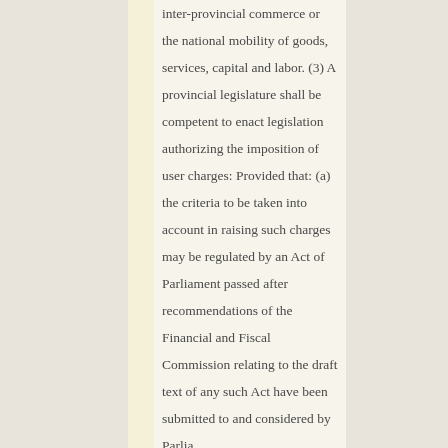inter-provincial commerce or the national mobility of goods, services, capital and labor. (3) A provincial legislature shall be competent to enact legislation authorizing the imposition of user charges: Provided that: (a) the criteria to be taken into account in raising such charges may be regulated by an Act of Parliament passed after recommendations of the Financial and Fiscal Commission relating to the draft text of any such Act have been submitted to and considered by Parliament